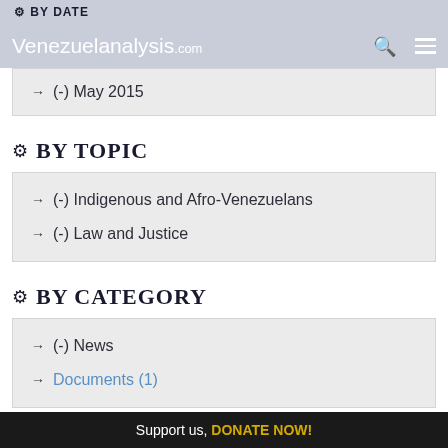BY DATE | Venezuelanalysis.com
(-) May 2015
BY TOPIC
(-) Indigenous and Afro-Venezuelans
(-) Law and Justice
BY CATEGORY
(-) News
Documents (1)
Support us, DONATE NOW!